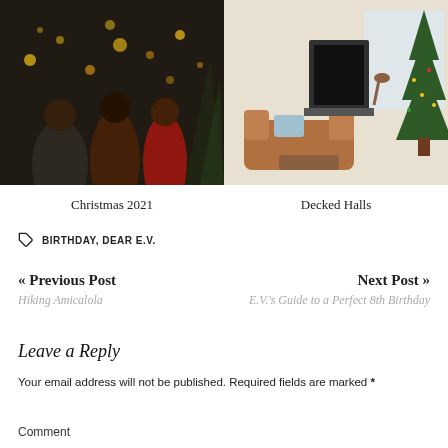Social icons: Instagram, Pinterest, Facebook, Email | Hamburger menu
[Figure (photo): Two photos side by side: left shows group of people celebrating near a Christmas tree with lights (dark, festive); right shows a decorated living room with a Christmas tree, sofa, and natural light]
Christmas 2021
Decked Halls
BIRTHDAY, DEAR E.V.
« Previous Post
Hiking Amicalola
Next Post »
E.V.'s Guide to a Perfect 8th Birthday
Leave a Reply
Your email address will not be published. Required fields are marked *
Comment